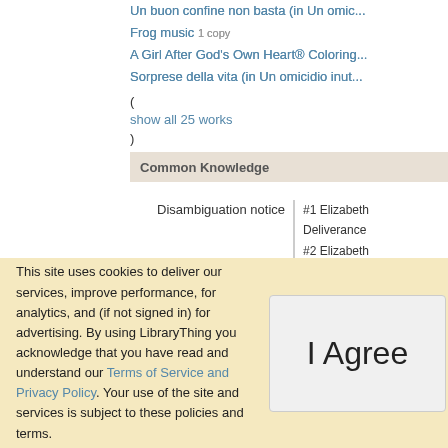Un buon confine non basta (in Un omicidio inutile...)
Frog music 1 copy
A Girl After God's Own Heart® Coloring...
Sorprese della vita (in Un omicidio inut...)
(show all 25 works)
Common Knowledge
Disambiguation notice
#1 Elizabeth
Deliverance
#2 Elizabeth
#3 Elizabeth
This site uses cookies to deliver our services, improve performance, for analytics, and (if not signed in) for advertising. By using LibraryThing you acknowledge that you have read and understand our Terms of Service and Privacy Policy. Your use of the site and services is subject to these policies and terms.
I Agree